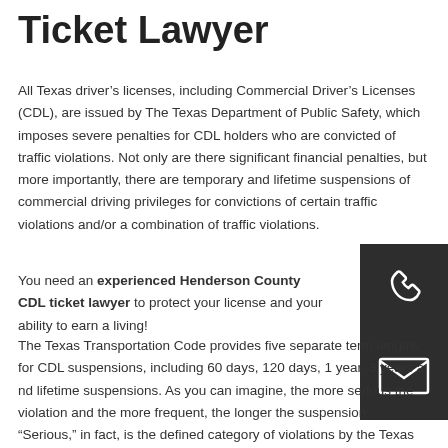Ticket Lawyer
All Texas driver’s licenses, including Commercial Driver’s Licenses (CDL), are issued by The Texas Department of Public Safety, which imposes severe penalties for CDL holders who are convicted of traffic violations. Not only are there significant financial penalties, but more importantly, there are temporary and lifetime suspensions of commercial driving privileges for convictions of certain traffic violations and/or a combination of traffic violations.
You need an experienced Henderson County CDL ticket lawyer to protect your license and your ability to earn a living!
[Figure (illustration): Dark gray square button with white phone/telephone handset icon]
[Figure (illustration): Dark gray square button with white envelope/mail icon]
The Texas Transportation Code provides five separate term lengths for CDL suspensions, including 60 days, 120 days, 1 year, 3 years and lifetime suspensions. As you can imagine, the more serious the violation and the more frequent, the longer the suspension. “Serious,” in fact, is the defined category of violations by the Texas Transportation Code that will garner a suspension. These violations include excessive speeding (15 m.p.h. over